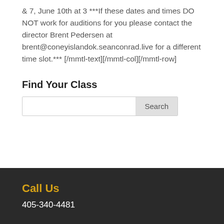& 7, June 10th at 3 ***If these dates and times DO NOT work for auditions for you please contact the director Brent Pedersen at brent@coneyislandok.seanconrad.live for a different time slot.*** [/mmtl-text][/mmtl-col][/mmtl-row]
Find Your Class
Search
Call Us
405-340-4481